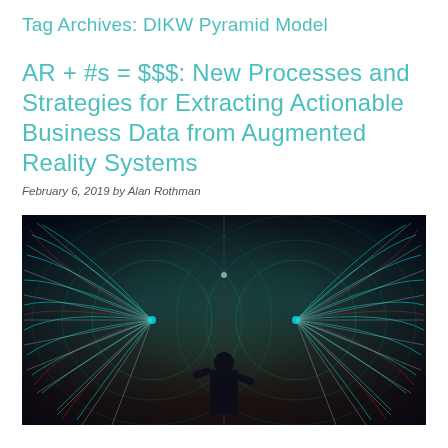Tag Archives: DIKW Pyramid Model
AR + #s = $$$: New Processes and Strategies for Extracting Actionable Business Data from Augmented Reality Systems
February 6, 2019 by Alan Rothman
[Figure (photo): A person standing in front of a large interactive augmented reality light installation with glowing cyan and red geometric patterns, viewed from behind in a dark environment.]